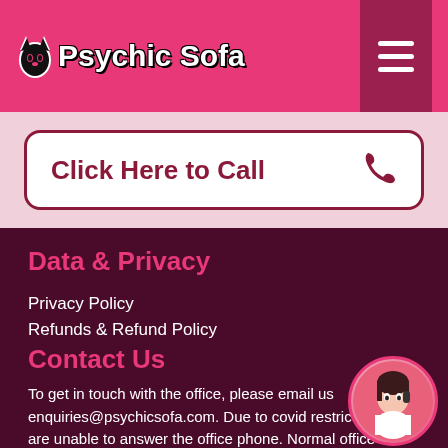Psychic Sofa
Click Here to Call
Data & Privacy
Privacy Policy
Refunds & Refund Policy
Terms & Conditions
What do we do with your information?
Contact Us
To get in touch with the office, please email us enquiries@psychicsofa.com. Due to covid restrictions we are unable to answer the office phone. Normal office